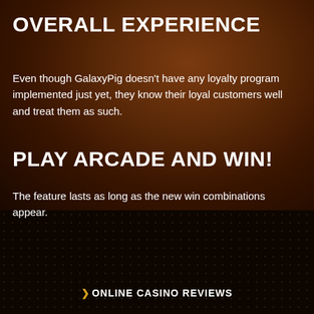OVERALL EXPERIENCE
Even though GalaxyPig doesn't have any loyalty program implemented just yet, they know their loyal customers well and treat them as such.
PLAY ARCADE AND WIN!
The feature lasts as long as the new win combinations appear.
> ONLINE CASINO REVIEWS